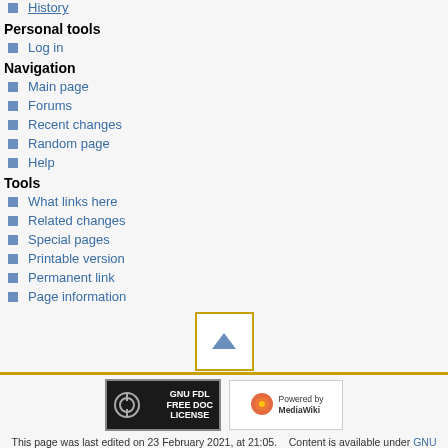History
Personal tools
Log in
Navigation
Main page
Forums
Recent changes
Random page
Help
Tools
What links here
Related changes
Special pages
Printable version
Permanent link
Page information
[Figure (other): Scroll to top button with upward triangle arrow, bordered in gold/orange]
[Figure (logo): GNU FDL Free Doc License badge and Powered by MediaWiki badge]
This page was last edited on 23 February 2021, at 21:05. Content is available under GNU Free Documentation License 1.2 unless otherwise noted. Contact an admin About MicrasWiki Disclaimers